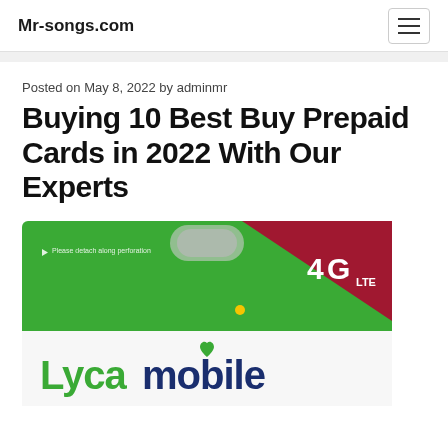Mr-songs.com
Posted on May 8, 2022 by adminmr
Buying 10 Best Buy Prepaid Cards in 2022 With Our Experts
[Figure (photo): Lycamobile prepaid SIM card packaging — green card with a hanger slot, red triangular stripe in top-right corner with '4G LTE' logo, Lycamobile logo at bottom with heart icon, text 'Please detach along perforation']